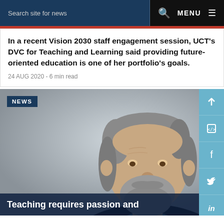Search site for news  MENU
In a recent Vision 2030 staff engagement session, UCT's DVC for Teaching and Learning said providing future-oriented education is one of her portfolio's goals.
24 AUG 2020 - 6 min read
[Figure (photo): Man with grey beard and hair smiling, wearing a dark sweater over a checked shirt, photographed against a grey background. NEWS badge in top left. Social share buttons on right side (up arrow, embed, Facebook, Twitter, LinkedIn).]
Teaching requires passion and